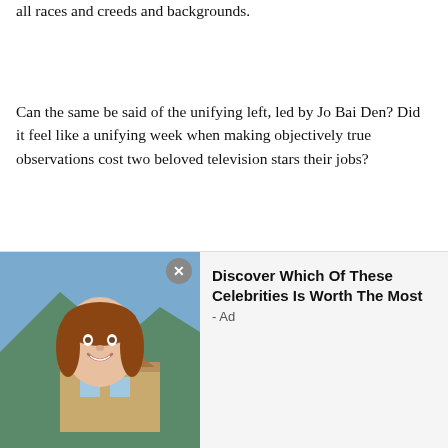all races and creeds and backgrounds.
Can the same be said of the unifying left, led by Jo Bai Den? Did it feel like a unifying week when making objectively true observations cost two beloved television stars their jobs?
Men and women who sat on the fence in the 2020 election, and were likely swayed by peer and media pressure to vote against Donald Trump, have been given a serious wake-up call. Their votes did not unify the country nor did they quell the
[Figure (infographic): Advertisement overlay with a close button (X), a photo of a smiling woman with brown hair against a house/mountain background, and text reading 'Discover Which Of These Celebrities Is Worth The Most - Ad']